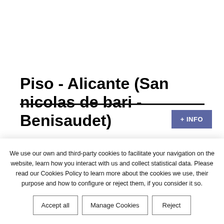Piso - Alicante (San nicolas de bari - Benisaudet)
+ INFO
QUESTION?
We use our own and third-party cookies to facilitate your navigation on the website, learn how you interact with us and collect statistical data. Please read our Cookies Policy to learn more about the cookies we use, their purpose and how to configure or reject them, if you consider it so.
Accept all
Manage Cookies
Reject